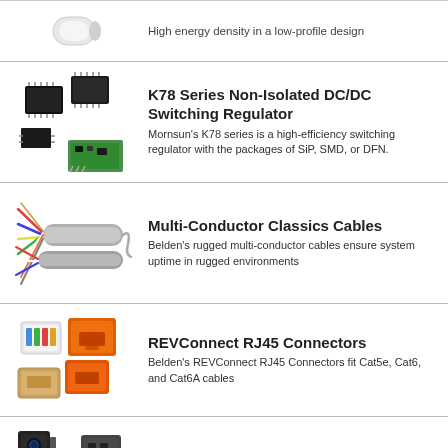[Figure (photo): Partial view of a white power supply or converter product (top of page, cropped)]
High energy density in a low-profile design
[Figure (photo): K78 Series Non-Isolated DC/DC Switching Regulator components in SiP, SMD, and DFN packages]
K78 Series Non-Isolated DC/DC Switching Regulator
Mornsun's K78 series is a high-efficiency switching regulator with the packages of SiP, SMD, or DFN.
[Figure (photo): Multi-conductor classic cables showing various cable types with exposed wires]
Multi-Conductor Classics Cables
Belden's rugged multi-conductor cables ensure system uptime in rugged environments
[Figure (photo): REVConnect RJ45 Connectors in orange and white/blue colors]
REVConnect RJ45 Connectors
Belden's REVConnect RJ45 Connectors fit Cat5e, Cat6, and Cat6A cables
[Figure (photo): Omron Automation Traceability Solutions products including scanners and readers]
Traceability Solutions
Omron Automation Traceability Solutions
Omron's vast track, trace and control